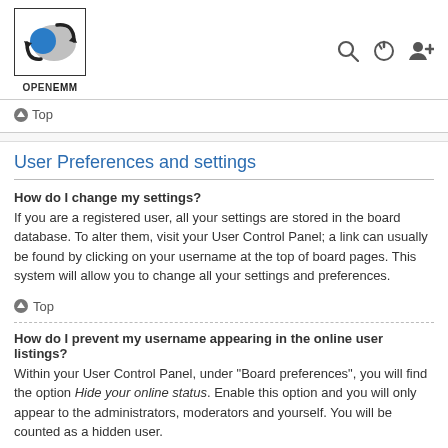[Figure (logo): OpenEMM logo with stylized blue and gray circular arrow icon inside a bordered box, with OPENEMM text below]
Top
User Preferences and settings
How do I change my settings?
If you are a registered user, all your settings are stored in the board database. To alter them, visit your User Control Panel; a link can usually be found by clicking on your username at the top of board pages. This system will allow you to change all your settings and preferences.
Top
How do I prevent my username appearing in the online user listings?
Within your User Control Panel, under "Board preferences", you will find the option Hide your online status. Enable this option and you will only appear to the administrators, moderators and yourself. You will be counted as a hidden user.
Top